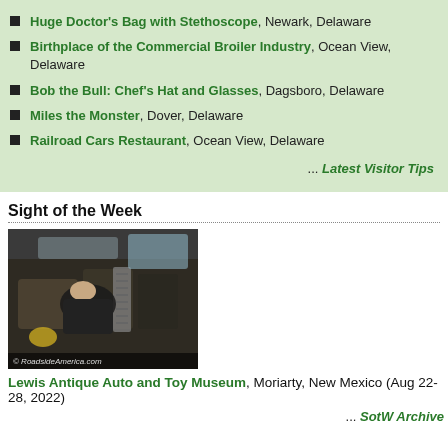Huge Doctor's Bag with Stethoscope, Newark, Delaware
Birthplace of the Commercial Broiler Industry, Ocean View, Delaware
Bob the Bull: Chef's Hat and Glasses, Dagsboro, Delaware
Miles the Monster, Dover, Delaware
Railroad Cars Restaurant, Ocean View, Delaware
... Latest Visitor Tips
Sight of the Week
[Figure (photo): Interior view of a vintage car engine bay with a person working on it. Photo credit: © RoadsideAmerica.com]
Lewis Antique Auto and Toy Museum, Moriarty, New Mexico (Aug 22-28, 2022)
... SotW Archive